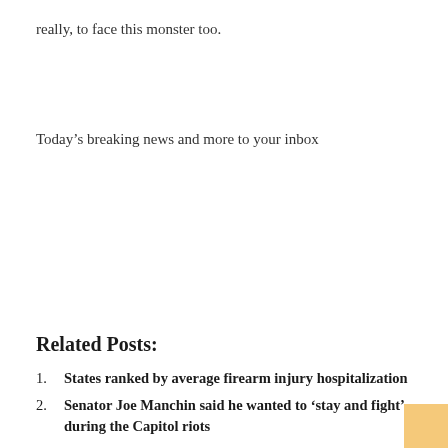really, to face this monster too.
Today’s breaking news and more to your inbox
Related Posts:
States ranked by average firearm injury hospitalization
Senator Joe Manchin said he wanted to ‘stay and fight’ during the Capitol riots